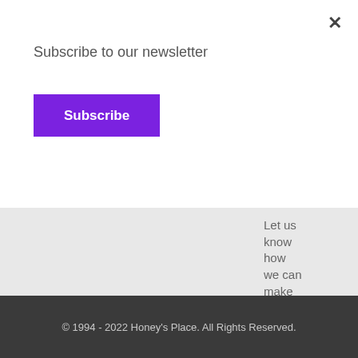Subscribe to our newsletter
Subscribe
×
Let us know how we can make your business grow!
Email:
sales@honeysp
© 1994 - 2022 Honey's Place. All Rights Reserved.